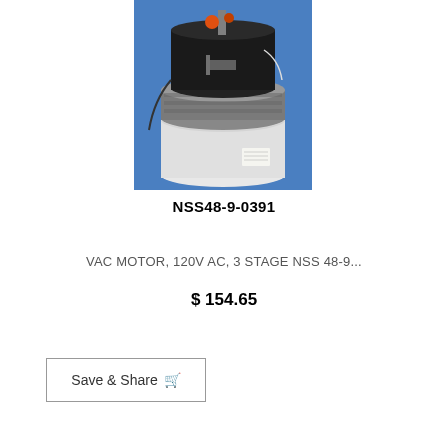[Figure (photo): A vacuum motor component photographed against a blue background. The motor has a white cylindrical base, metallic middle section with fins, and a black top with orange and grey components including wiring.]
NSS48-9-0391
VAC MOTOR, 120V AC, 3 STAGE NSS 48-9...
$ 154.65
Save & Share